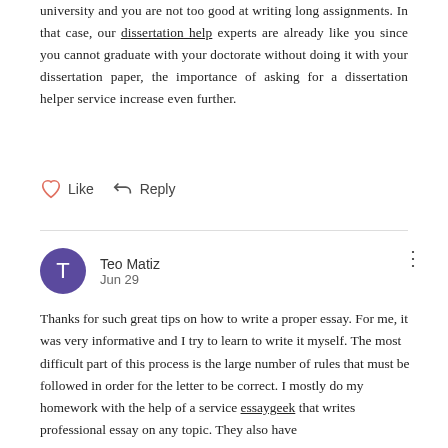university and you are not too good at writing long assignments. In that case, our dissertation help experts are already like you since you cannot graduate with your doctorate without doing it with your dissertation paper, the importance of asking for a dissertation helper service increase even further.
Like   Reply
Teo Matiz
Jun 29
Thanks for such great tips on how to write a proper essay. For me, it was very informative and I try to learn to write it myself. The most difficult part of this process is the large number of rules that must be followed in order for the letter to be correct. I mostly do my homework with the help of a service essaygeek that writes professional essay on any topic. They also have